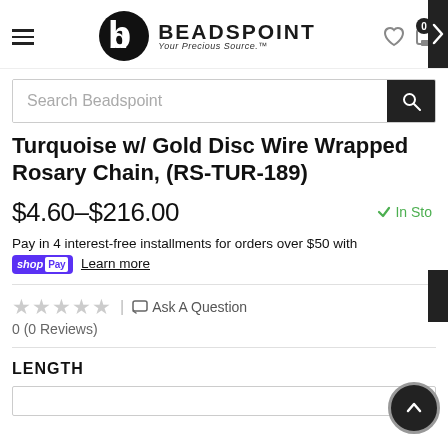BEADSPOINT Your Precious Source.™
Search Beadspoint
Turquoise w/ Gold Disc Wire Wrapped Rosary Chain, (RS-TUR-189)
$4.60–$216.00   ✓ In Stock
Pay in 4 interest-free installments for orders over $50 with shop Pay  Learn more
0 (0 Reviews)  | 💬 Ask A Question
LENGTH